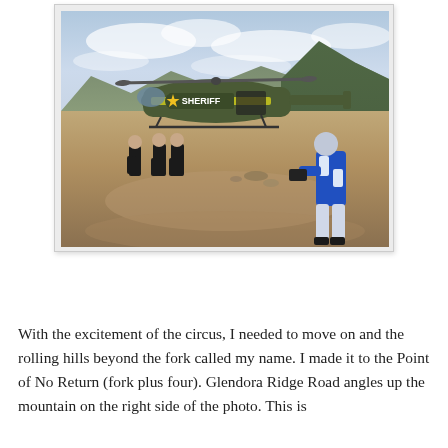[Figure (photo): A Sheriff's helicopter (green and yellow, with 'SHERIFF' written on the body) landed on a dirt mountain road. Three people in dark clothing stand near the helicopter in the background. In the foreground, a person in a blue and white motorcycle suit walks on the dirt road. Mountains and overcast sky are visible in the background.]
With the excitement of the circus, I needed to move on and the rolling hills beyond the fork called my name. I made it to the Point of No Return (fork plus four). Glendora Ridge Road angles up the mountain on the right side of the photo. This is